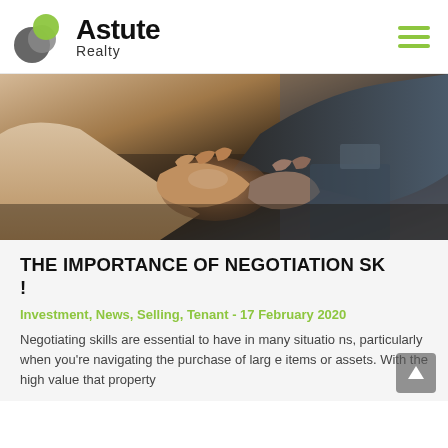[Figure (logo): Astute Realty logo with overlapping circles (grey, dark grey, lime green) and text 'Astute Realty']
[Figure (photo): Two people shaking hands in a business setting, close-up showing forearms and clasped hands against a blurred office background]
THE IMPORTANCE OF NEGOTIATION SK...!
Investment, News, Selling, Tenant - 17 February 2020
Negotiating skills are essential to have in many situations, particularly when you're navigating the purchase of large items or assets. With the high value that property transactions attract, having a strong negotiating...